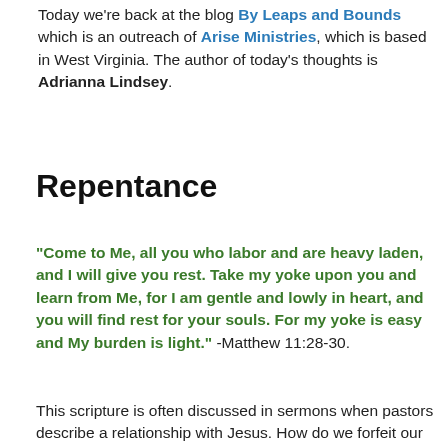Today we're back at the blog By Leaps and Bounds which is an outreach of Arise Ministries, which is based in West Virginia. The author of today's thoughts is Adrianna Lindsey.
Repentance
“Come to Me, all you who labor and are heavy laden, and I will give you rest. Take my yoke upon you and learn from Me, for I am gentle and lowly in heart, and you will find rest for your souls. For my yoke is easy and My burden is light.” -Matthew 11:28-30.
This scripture is often discussed in sermons when pastors describe a relationship with Jesus. How do we forfeit our